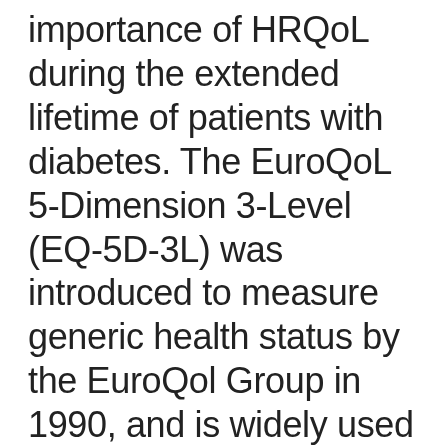importance of HRQoL during the extended lifetime of patients with diabetes. The EuroQoL 5-Dimension 3-Level (EQ-5D-3L) was introduced to measure generic health status by the EuroQol Group in 1990, and is widely used all over the world. The EuroQoL 5-Dimension 5-Level (EQ-5D-5L) was developed to cover a